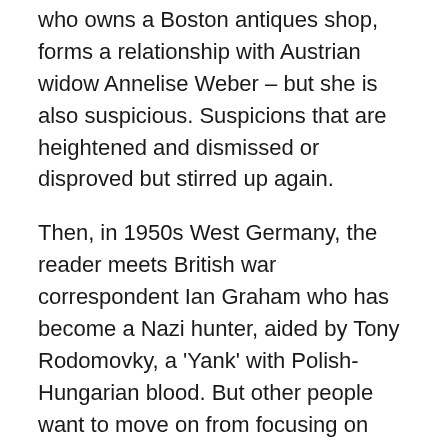who owns a Boston antiques shop, forms a relationship with Austrian widow Annelise Weber – but she is also suspicious. Suspicions that are heightened and dismissed or disproved but stirred up again.
Then, in 1950s West Germany, the reader meets British war correspondent Ian Graham who has become a Nazi hunter, aided by Tony Rodomovky, a 'Yank' with Polish-Hungarian blood. But other people want to move on from focusing on Nazi crimes, especially the judges – the focus has shifted onto the 'Commies'. However, for Ian, finding the elusive Huntress is personal – a reveal not rushed by the author.
Finally, we are in harsh and remote Siberia, where my favourite character, Nina Markova needs to escape her father. Facing tough prospects if she remains, she risks